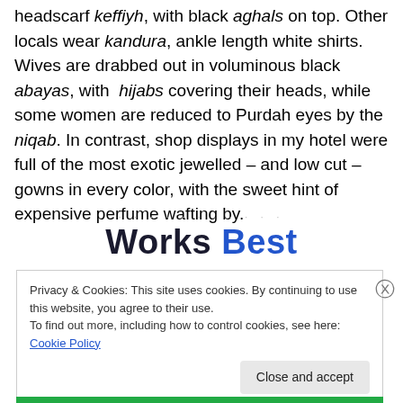headscarf keffiyh, with black aghals on top. Other locals wear kandura, ankle length white shirts. Wives are drabbed out in voluminous black abayas, with hijabs covering their heads, while some women are reduced to Purdah eyes by the niqab. In contrast, shop displays in my hotel were full of the most exotic jewelled – and low cut – gowns in every color, with the sweet hint of expensive perfume wafting by.
Works Best
Privacy & Cookies: This site uses cookies. By continuing to use this website, you agree to their use.
To find out more, including how to control cookies, see here: Cookie Policy